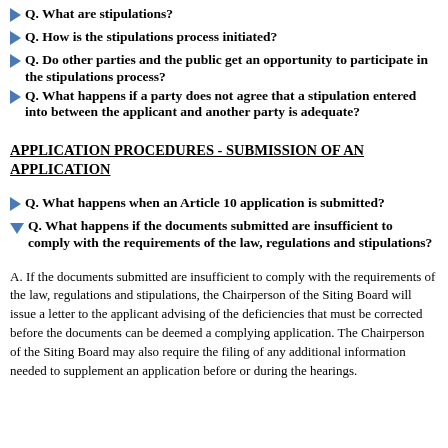Q. What are stipulations?
Q. How is the stipulations process initiated?
Q. Do other parties and the public get an opportunity to participate in the stipulations process?
Q. What happens if a party does not agree that a stipulation entered into between the applicant and another party is adequate?
APPLICATION PROCEDURES - SUBMISSION OF AN APPLICATION
Q. What happens when an Article 10 application is submitted?
Q. What happens if the documents submitted are insufficient to comply with the requirements of the law, regulations and stipulations?
A. If the documents submitted are insufficient to comply with the requirements of the law, regulations and stipulations, the Chairperson of the Siting Board will issue a letter to the applicant advising of the deficiencies that must be corrected before the documents can be deemed a complying application. The Chairperson of the Siting Board may also require the filing of any additional information needed to supplement an application before or during the hearings.